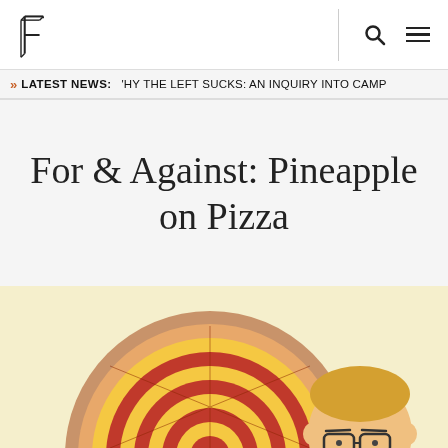F logo with search and menu icons
>> LATEST NEWS: 'HY THE LEFT SUCKS: AN INQUIRY INTO CAMP
For & Against: Pineapple on Pizza
[Figure (illustration): Cartoon illustration of a pizza with red and yellow concentric rings pattern, and a cartoon character with glasses peeking from behind, on a light yellow background]